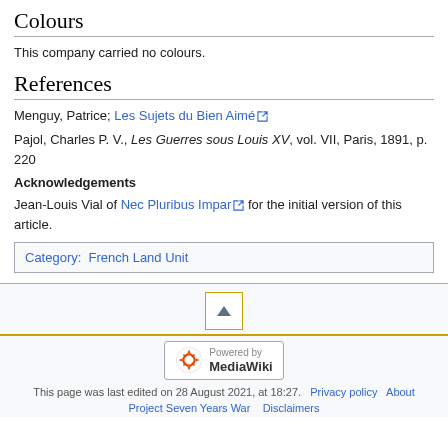Colours
This company carried no colours.
References
Menguy, Patrice; Les Sujets du Bien Aimé [external link]
Pajol, Charles P. V., Les Guerres sous Louis XV, vol. VII, Paris, 1891, p. 220
Acknowledgements
Jean-Louis Vial of Nec Pluribus Impar [external link] for the initial version of this article.
Category:  French Land Unit
[Figure (other): Scroll to top button with up arrow inside a yellow-bordered box]
[Figure (logo): Powered by MediaWiki badge]
This page was last edited on 28 August 2021, at 18:27.   Privacy policy   About   Project Seven Years War   Disclaimers